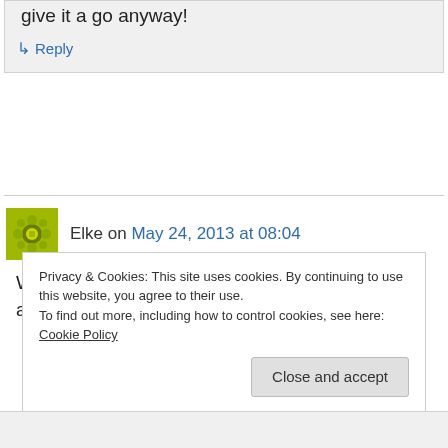give it a go anyway!
↳ Reply
Elke on May 24, 2013 at 08:04
When I heard that Baz Luhrman was doing a film adaptation of The Great Gatsby, my first thought
Privacy & Cookies: This site uses cookies. By continuing to use this website, you agree to their use.
To find out more, including how to control cookies, see here: Cookie Policy
Close and accept